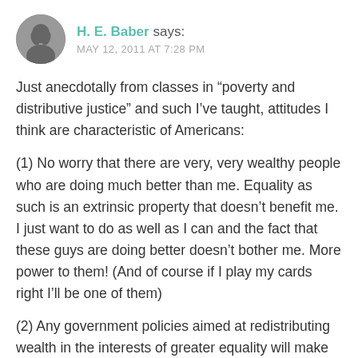H. E. Baber says: MAY 12, 2011 AT 7:28 PM
Just anecdotally from classes in “poverty and distributive justice” and such I’ve taught, attitudes I think are characteristic of Americans:
(1) No worry that there are very, very wealthy people who are doing much better than me. Equality as such is an extrinsic property that doesn’t benefit me. I just want to do as well as I can and the fact that these guys are doing better doesn’t bother me. More power to them! (And of course if I play my cards right I’ll be one of them)
(2) Any government policies aimed at redistributing wealth in the interests of greater equality will make ME worse off because I am, of course, in all ways